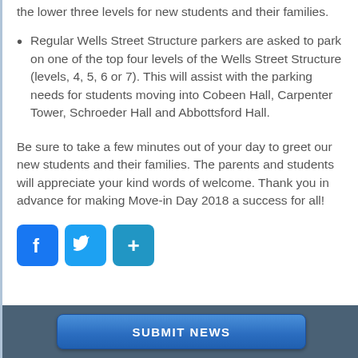the lower three levels for new students and their families.
Regular Wells Street Structure parkers are asked to park on one of the top four levels of the Wells Street Structure (levels, 4, 5, 6 or 7). This will assist with the parking needs for students moving into Cobeen Hall, Carpenter Tower, Schroeder Hall and Abbottsford Hall.
Be sure to take a few minutes out of your day to greet our new students and their families. The parents and students will appreciate your kind words of welcome. Thank you in advance for making Move-in Day 2018 a success for all!
[Figure (infographic): Three social media icon buttons: Facebook (blue square with 'f'), Twitter (blue square with bird icon), and a share button (blue square with '+' sign)]
SUBMIT NEWS